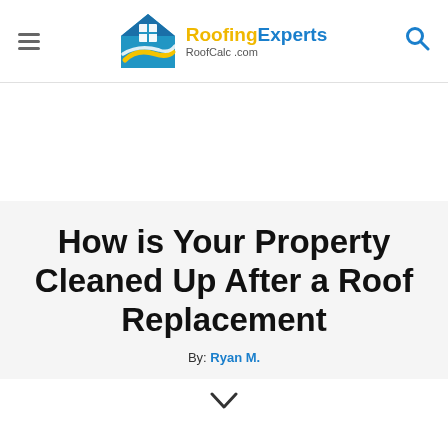RoofingExperts RoofCalc.com
How is Your Property Cleaned Up After a Roof Replacement
By: Ryan M.